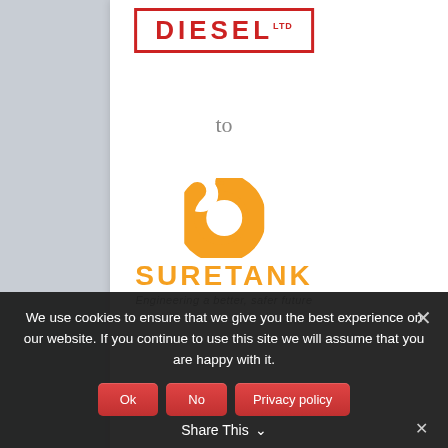[Figure (logo): Diesel Ltd logo — red bordered rectangle with DIESEL LTD text in bold red capitals]
to
[Figure (logo): Suretank logo — orange ring/arrow icon above SURETANK text in orange with tagline 'Engineering a better, safer future']
We use cookies to ensure that we give you the best experience on our website. If you continue to use this site we will assume that you are happy with it.
Ok  No  Privacy policy
Share This